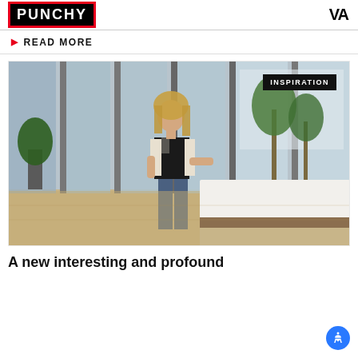PUNCHY | VA
READ MORE
[Figure (photo): Woman with blonde hair in white blazer and jeans standing in a hotel lobby with large windows and palm trees outside. An 'INSPIRATION' badge overlay is in the top right of the image.]
A new interesting and profound